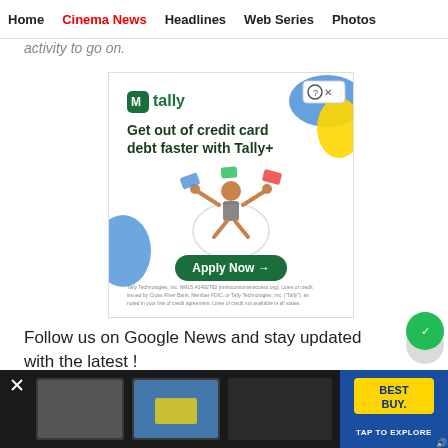Home | Cinema News | Headlines | Web Series | Photos
activity to go on.
[Figure (other): Tally advertisement: 'Get out of credit card debt faster with Tally+' with Apply Now button and illustrated person juggling credit cards]
Follow us on Google News and stay updated with the latest !
[Figure (other): Bottom banner advertisement for Best Buy with TAP TO EXPLORE button and video thumbnails]